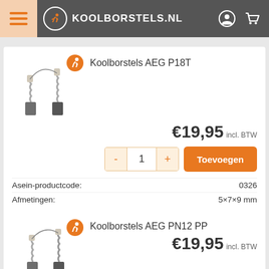[Figure (screenshot): Koolborstels.nl website navigation bar with hamburger menu, logo, and icons]
[Figure (photo): Carbon brushes product photo for AEG P18T with orange brand badge]
Koolborstels AEG P18T
€19,95 incl. BTW
- 1 + Toevoegen
Asein-productcode: 0326
Afmetingen: 5×7×9 mm
Meer informatie: >
[Figure (photo): Carbon brushes product photo for AEG PN12 PP with orange brand badge]
Koolborstels AEG PN12 PP
€19,95 incl. BTW